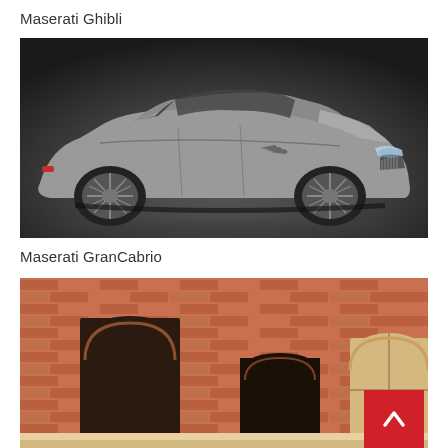Maserati Ghibli
[Figure (photo): Maserati Ghibli silver sedan car photographed from a front-three-quarter angle against a dark gray gradient background]
Maserati GranCabrio
[Figure (photo): Partial view of a brick building with arched windows and doorways, terracotta-colored facade; a red scroll-to-top button overlaid in the bottom right corner]